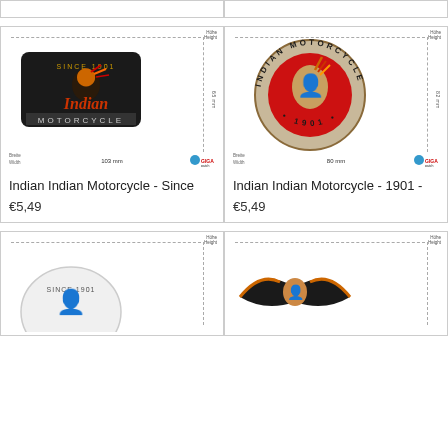[Figure (photo): Top partial card strip showing two partial product cards cut off at top]
[Figure (photo): Indian Motorcycle patch - Since 1901 - embroidered patch with Native American chief head, script 'Indian' text, 'MOTORCYCLE' text below, black background. Size: 103mm x 65mm]
Indian Indian Motorcycle - Since
€5,49
[Figure (photo): Indian Motorcycle 1901 circular embroidered patch - round patch with Native American chief profile, 'INDIAN MOTORCYCLE' text around circle, '1901' at bottom, red and beige colors. Size: 80mm x 82mm]
Indian Indian Motorcycle - 1901 -
€5,49
[Figure (photo): Bottom partial card - Indian Motorcycle patch Since 1901 with Native American chief, white/grey oval background, partially visible]
[Figure (photo): Bottom partial card - Indian Motorcycle winged/eagle themed patch with Native American chief, dark colors, partially visible]